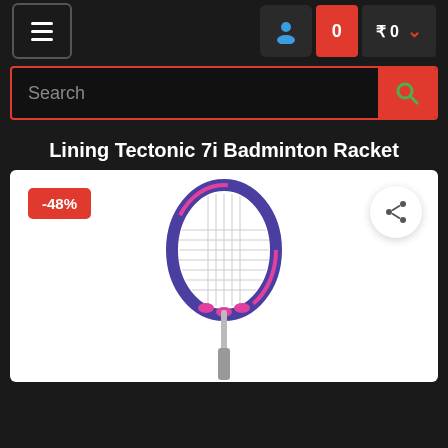≡  👤  0  ₹ 0 ˅
Search
Lining Tectonic 7i Badminton Racket
[Figure (photo): Lining Tectonic 7i Badminton Racket product image on white background with -48% discount badge and share icon]